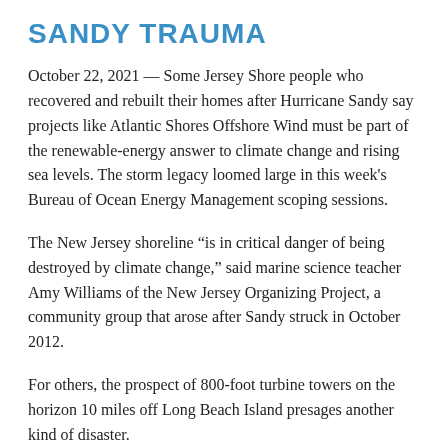SANDY TRAUMA
October 22, 2021 — Some Jersey Shore people who recovered and rebuilt their homes after Hurricane Sandy say projects like Atlantic Shores Offshore Wind must be part of the renewable-energy answer to climate change and rising sea levels. The storm legacy loomed large in this week's Bureau of Ocean Energy Management scoping sessions.
The New Jersey shoreline “is in critical danger of being destroyed by climate change,” said marine science teacher Amy Williams of the New Jersey Organizing Project, a community group that arose after Sandy struck in October 2012.
For others, the prospect of 800-foot turbine towers on the horizon 10 miles off Long Beach Island presages another kind of disaster.
The location is “completely inappropriate” said Wendy